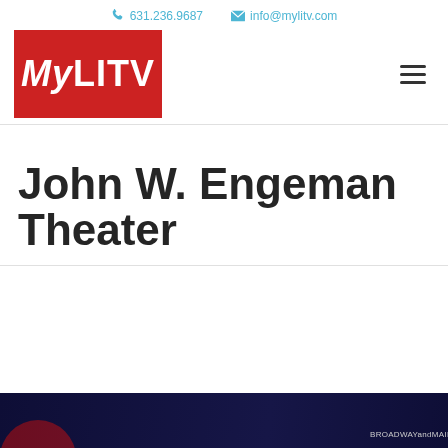631.236.9687  info@mylitv.com
[Figure (logo): MyLITV logo — white text on red background]
John W. Engeman Theater
[Figure (photo): Thumbnail strip showing a dark blue/navy background with a red circle element on the left and BROADWAYandMAIN.com text on the right]